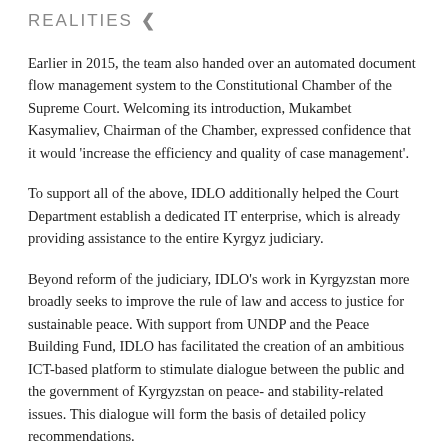REALITIES
Earlier in 2015, the team also handed over an automated document flow management system to the Constitutional Chamber of the Supreme Court. Welcoming its introduction, Mukambet Kasymaliev, Chairman of the Chamber, expressed confidence that it would 'increase the efficiency and quality of case management'.
To support all of the above, IDLO additionally helped the Court Department establish a dedicated IT enterprise, which is already providing assistance to the entire Kyrgyz judiciary.
Beyond reform of the judiciary, IDLO's work in Kyrgyzstan more broadly seeks to improve the rule of law and access to justice for sustainable peace. With support from UNDP and the Peace Building Fund, IDLO has facilitated the creation of an ambitious ICT-based platform to stimulate dialogue between the public and the government of Kyrgyzstan on peace- and stability-related issues. This dialogue will form the basis of detailed policy recommendations.